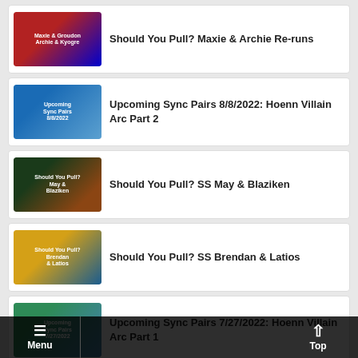Should You Pull? Maxie & Archie Re-runs
Upcoming Sync Pairs 8/8/2022: Hoenn Villain Arc Part 2
Should You Pull? SS May & Blaziken
Should You Pull? SS Brendan & Latios
Upcoming Sync Pairs 7/27/2022: Hoenn Villain Arc Part 1
Menu   Top